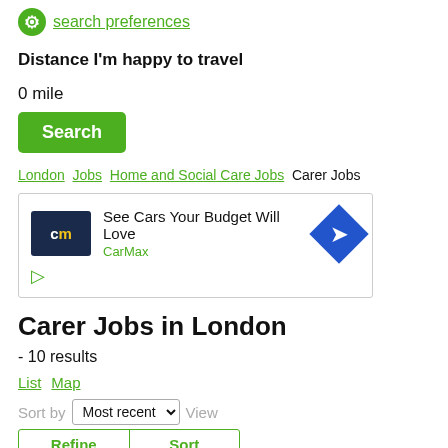search preferences
Distance I'm happy to travel
0 mile
Search
London Jobs Home and Social Care Jobs Carer Jobs
[Figure (other): CarMax advertisement banner: logo with 'cm' text, headline 'See Cars Your Budget Will Love', CarMax brand name, blue diamond navigation icon, play button triangle]
Carer Jobs in London
- 10 results
List Map
Sort by Most recent View
Refine Sort